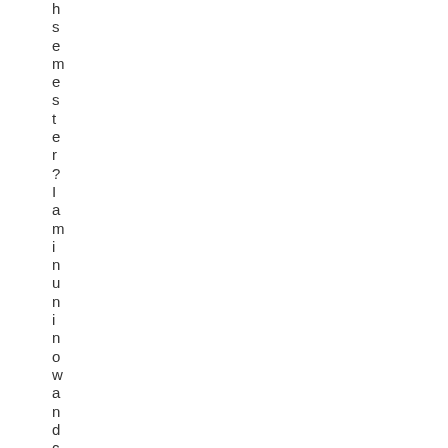h
s
e
m
e
s
t
e
r
?
I
a
m
i
n
u
n
i
n
o
w
a
n
d
c
a
n
b